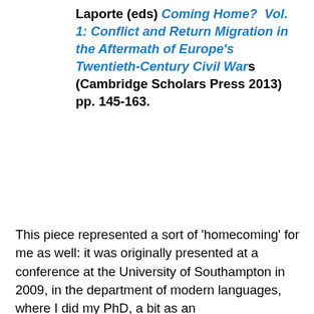Laporte (eds) Coming Home? Vol. 1: Conflict and Return Migration in the Aftermath of Europe's Twentieth-Century Civil Wars (Cambridge Scholars Press 2013) pp. 145-163.
This piece represented a sort of 'homecoming' for me as well: it was originally presented at a conference at the University of Southampton in 2009, in the department of modern languages, where I did my PhD, a bit as an